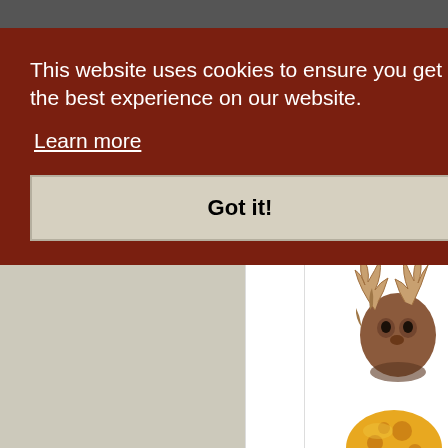This website uses cookies to ensure you get the best experience on our website.
Learn more
Got it!
[Figure (illustration): Pixel art creature - red mushroom-like creature with yellow spots (Subtle C...)]
SUBTLE C
50 000
or 45
[Figure (illustration): Pixel art creature - brown spiky creature with antler-like protrusions (TEET...)]
TEET
50 000
or 45
[Figure (illustration): Pixel art item - yellow/orange cheese-like item at bottom right]